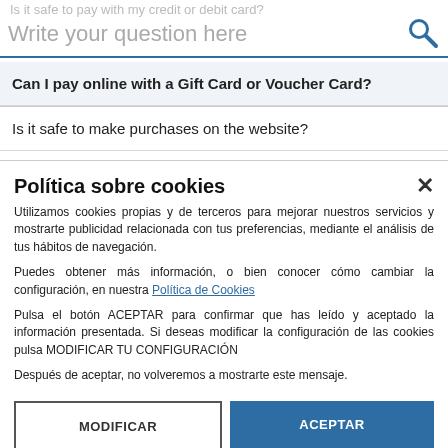[Figure (screenshot): Search bar with placeholder text 'Write your question here' and a search icon on the right. Ghost text above reads 'Is it safe to pay with my credit or debit card?']
Can I pay online with a Gift Card or Voucher Card?
Is it safe to make purchases on the website?
Política sobre cookies
Utilizamos cookies propias y de terceros para mejorar nuestros servicios y mostrarte publicidad relacionada con tus preferencias, mediante el análisis de tus hábitos de navegación.
Puedes obtener más información, o bien conocer cómo cambiar la configuración, en nuestra Política de Cookies
Pulsa el botón ACEPTAR para confirmar que has leído y aceptado la información presentada. Si deseas modificar la configuración de las cookies pulsa MODIFICAR TU CONFIGURACIÓN
Después de aceptar, no volveremos a mostrarte este mensaje.